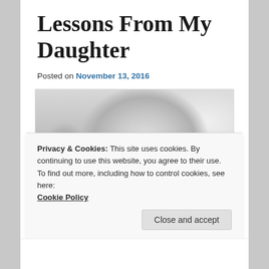Lessons From My Daughter
Posted on November 13, 2016
[Figure (photo): Black and white close-up photograph of a baby's hand/fist and ear]
Privacy & Cookies: This site uses cookies. By continuing to use this website, you agree to their use.
To find out more, including how to control cookies, see here:
Cookie Policy
Close and accept